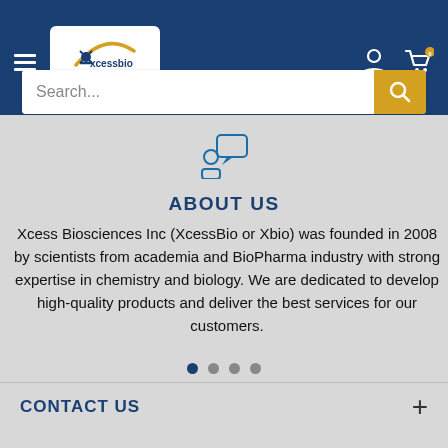[Figure (logo): XcessBio logo in white box, with hamburger menu icon on left and user/cart icons on right in dark blue header]
[Figure (illustration): Chat/person icon in blue outline style]
ABOUT US
Xcess Biosciences Inc (XcessBio or Xbio) was founded in 2008 by scientists from academia and BioPharma industry with strong expertise in chemistry and biology. We are dedicated to develop high-quality products and deliver the best services for our customers.
CONTACT US